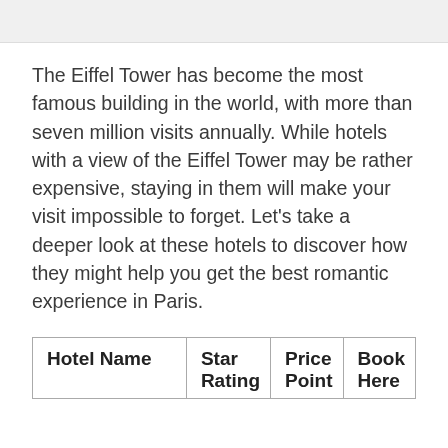The Eiffel Tower has become the most famous building in the world, with more than seven million visits annually. While hotels with a view of the Eiffel Tower may be rather expensive, staying in them will make your visit impossible to forget. Let's take a deeper look at these hotels to discover how they might help you get the best romantic experience in Paris.
| Hotel Name | Star Rating | Price Point | Book Here |
| --- | --- | --- | --- |